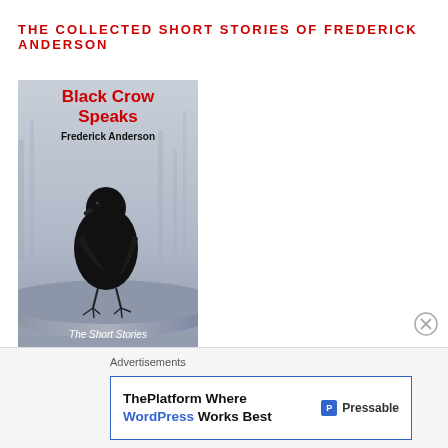THE COLLECTED SHORT STORIES OF FREDERICK ANDERSON
[Figure (illustration): Book cover for 'Black Crow Speaks' by Frederick Anderson. The cover shows a large black crow perched on a branch against a wintry blurred background. Title 'Black Crow Speaks' in red bold text, author 'Frederick Anderson' in bold dark text, and subtitle 'The Short Stories' in white italic text at the bottom.]
Advertisements
[Figure (other): Advertisement banner: 'ThePlatform Where WordPress Works Best' with Pressable logo on the right.]